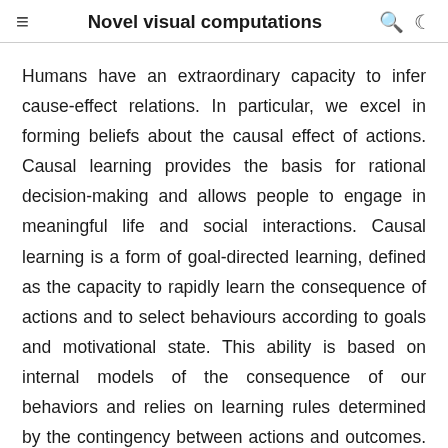Novel visual computations
Humans have an extraordinary capacity to infer cause-effect relations. In particular, we excel in forming beliefs about the causal effect of actions. Causal learning provides the basis for rational decision-making and allows people to engage in meaningful life and social interactions. Causal learning is a form of goal-directed learning, defined as the capacity to rapidly learn the consequence of actions and to select behaviours according to goals and motivational state. This ability is based on internal models of the consequence of our behaviors and relies on learning rules determined by the contingency between actions and outcomes. At a first approximation, contingency ΔP is operationalized as the difference between two conditional probabilities: i) P(O|A), the probability of outcome O given action A; ii)